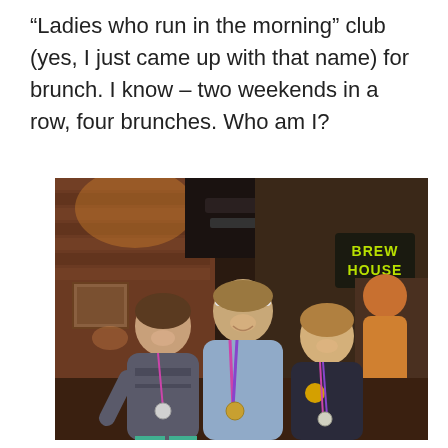“Ladies who run in the morning” club (yes, I just came up with that name) for brunch. I know – two weekends in a row, four brunches. Who am I?
[Figure (photo): Three women wearing running medals posing together inside a brew house restaurant with brick walls. A 'BREW HOUSE' sign is visible in the background.]